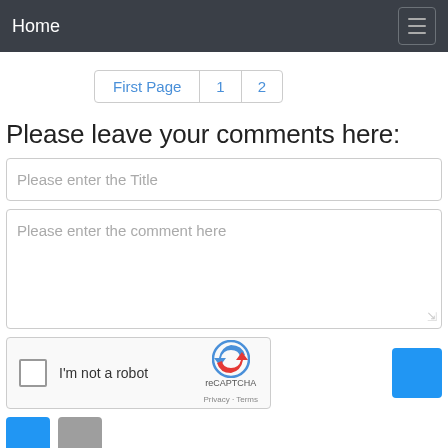Home
First Page  1  2
Please leave your comments here:
Please enter the Title
Please enter the comment here
[Figure (other): reCAPTCHA widget with checkbox labeled 'I'm not a robot', reCAPTCHA logo, Privacy and Terms links]
I'm not a robot
reCAPTCHA
Privacy · Terms